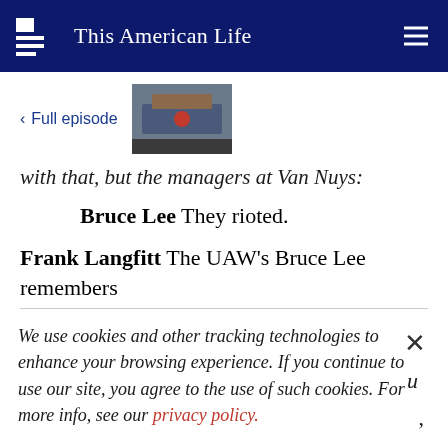This American Life
< Full episode
with that, but the managers at Van Nuys:
Bruce Lee  They rioted.
Frank Langfitt  The UAW's Bruce Lee remembers
We use cookies and other tracking technologies to enhance your browsing experience. If you continue to use our site, you agree to the use of such cookies. For more info, see our privacy policy.
he said, "Bruce, I can't do it. I can't do it. I